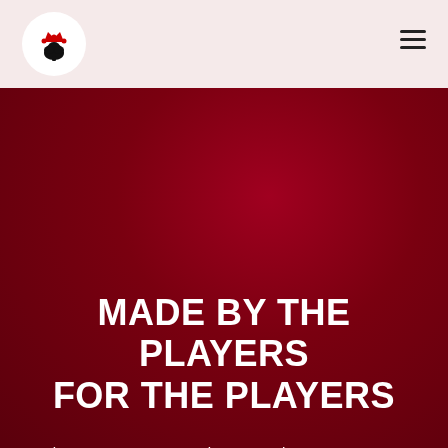[Figure (logo): Round white circle with a black spade/location pin icon topped with a red crown – poker app logo]
MADE BY THE PLAYERS FOR THE PLAYERS
Book your seat now at a poker game closest to your current location and likings, using our dedicated mobile app and gain many more!